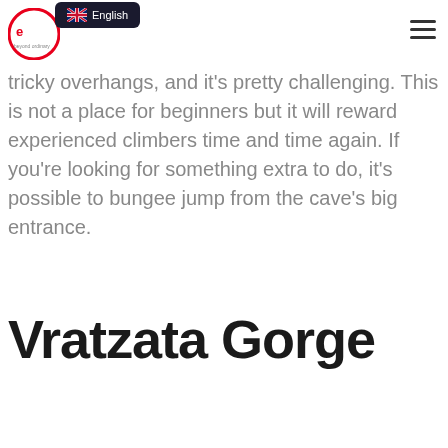English | [logo] | [menu]
tricky overhangs, and it's pretty challenging. This is not a place for beginners but it will reward experienced climbers time and time again. If you're looking for something extra to do, it's possible to bungee jump from the cave's big entrance.
Vratzata Gorge